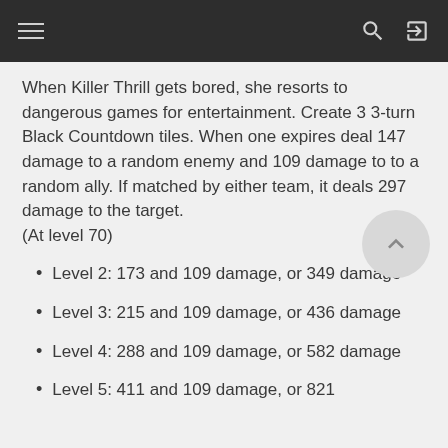[navigation bar with hamburger menu, search, and login icons]
When Killer Thrill gets bored, she resorts to dangerous games for entertainment. Create 3 3-turn Black Countdown tiles. When one expires deal 147 damage to a random enemy and 109 damage to to a random ally. If matched by either team, it deals 297 damage to the target.
(At level 70)
Level 2: 173 and 109 damage, or 349 damage
Level 3: 215 and 109 damage, or 436 damage
Level 4: 288 and 109 damage, or 582 damage
Level 5: 411 and 109 damage, or 821...